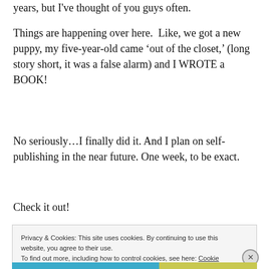years, but I've thought of you guys often.
Things are happening over here.  Like, we got a new puppy, my five-year-old came ‘out of the closet,’ (long story short, it was a false alarm) and I WROTE a BOOK!
No seriously…I finally did it. And I plan on self-publishing in the near future. One week, to be exact.
Check it out!
Privacy & Cookies: This site uses cookies. By continuing to use this website, you agree to their use.
To find out more, including how to control cookies, see here: Cookie Policy
Close and accept